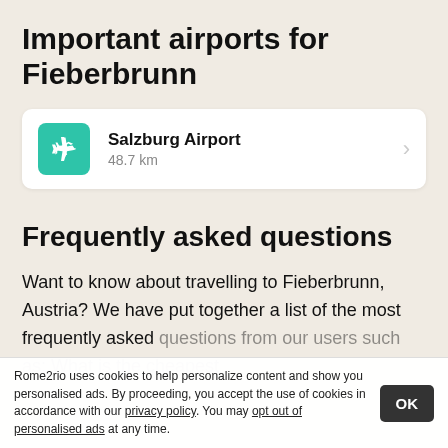Important airports for Fieberbrunn
[Figure (infographic): Airport card showing Salzburg Airport with airplane icon (teal background), name 'Salzburg Airport', distance '48.7 km', and right arrow]
Frequently asked questions
Want to know about travelling to Fieberbrunn, Austria? We have put together a list of the most frequently asked questions from our users such as: What is the cheapest ... How ... kets usually cost? and many more
Rome2rio uses cookies to help personalize content and show you personalised ads. By proceeding, you accept the use of cookies in accordance with our privacy policy. You may opt out of personalised ads at any time.